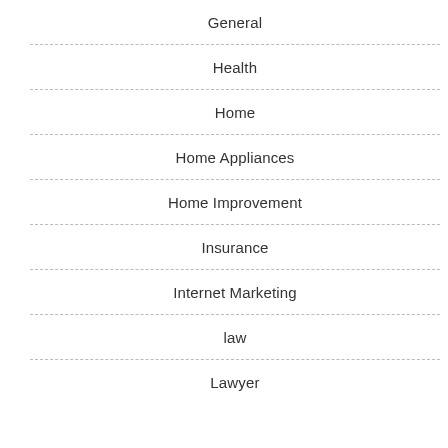General
Health
Home
Home Appliances
Home Improvement
Insurance
Internet Marketing
law
Lawyer